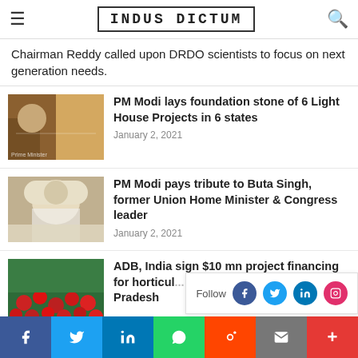INDUS DICTUM
Chairman Reddy called upon DRDO scientists to focus on next generation needs.
PM Modi lays foundation stone of 6 Light House Projects in 6 states
January 2, 2021
PM Modi pays tribute to Buta Singh, former Union Home Minister & Congress leader
January 2, 2021
ADB, India sign $10 mn project financing for horticultural development in Himachal Pradesh
f  Twitter  in  WhatsApp  Reddit  Email  +